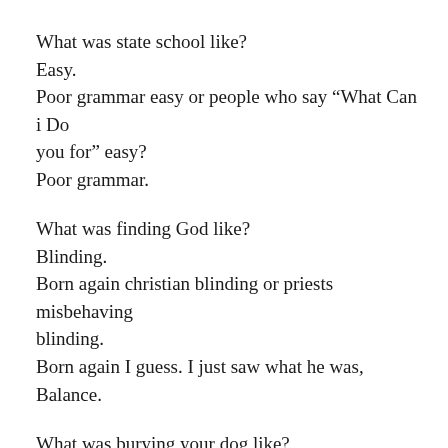What was state school like?
Easy.
Poor grammar easy or people who say “What Can i Do you for” easy?
Poor grammar.
What was finding God like?
Blinding.
Born again christian blinding or priests misbehaving blinding.
Born again I guess. I just saw what he was,
Balance.
What was burying your dog like?
Depressing.
Dogs at the pound depressing or dogs in dresses